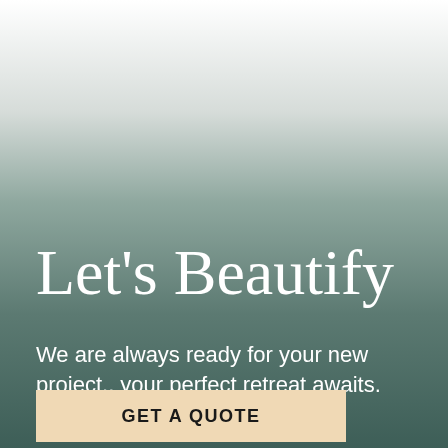[Figure (illustration): Background gradient image transitioning from white at top to dark teal/green at bottom, suggesting a misty outdoor or spa environment.]
Let's Beautify
We are always ready for your new project.. your perfect retreat awaits.
GET A QUOTE